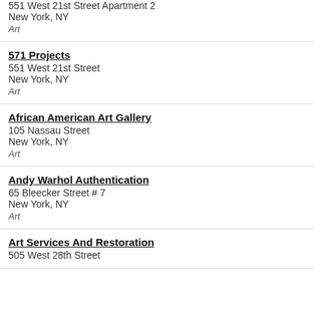551 West 21st Street Apartment 2
New York, NY
Art
571 Projects
551 West 21st Street
New York, NY
Art
African American Art Gallery
105 Nassau Street
New York, NY
Art
Andy Warhol Authentication
65 Bleecker Street # 7
New York, NY
Art
Art Services And Restoration
505 West 28th Street